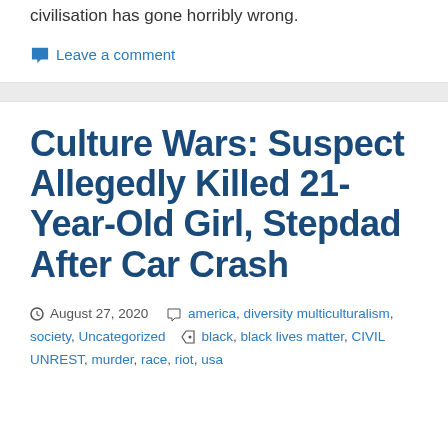civilisation has gone horribly wrong.
Leave a comment
Culture Wars: Suspect Allegedly Killed 21-Year-Old Girl, Stepdad After Car Crash
August 27, 2020   america, diversity multiculturalism, society, Uncategorized   black, black lives matter, CIVIL UNREST, murder, race, riot, usa